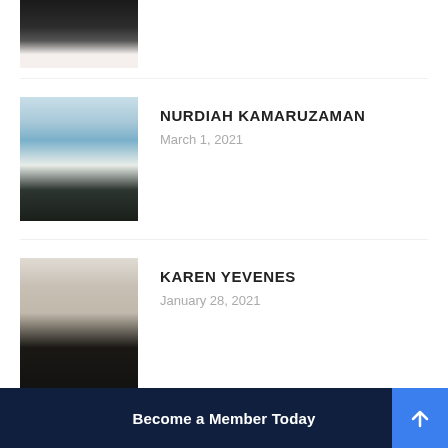[Figure (photo): Partial photo of a person at top of page, partially cropped]
[Figure (photo): Photo of Nurdiah Kamaruzaman, a woman with glasses standing outdoors]
NURDIAH KAMARUZAMAN
March 1, 2021
[Figure (photo): Photo of Karen Yevenes, a woman with dark hair smiling]
KAREN YEVENES
January 28, 2021
[Figure (photo): Photo of Lidija Dumbaloska, a woman with blonde hair]
LIDIJA DUMBALOSKA
December 28, 2020
Become a Member Today